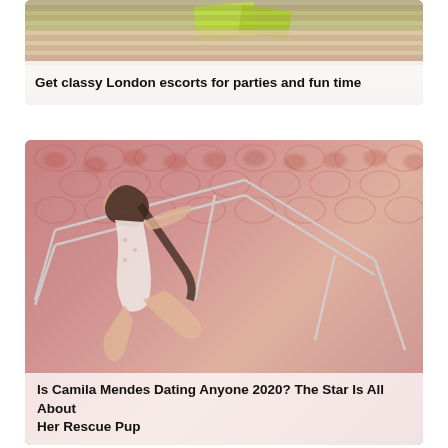[Figure (photo): Cropped photo of a woman in a green bikini against a wooden background, partially visible from torso down. Text overlay at bottom reads 'Get classy London escorts for parties and fun time'.]
Get classy London escorts for parties and fun time
[Figure (photo): Photo of a young woman in a white polka-dot swimsuit reclining on a white metal lounge chair on a red tile surface. Text overlay at bottom reads 'Is Camila Mendes Dating Anyone 2020? The Star Is All About Her Rescue Pup'.]
Is Camila Mendes Dating Anyone 2020? The Star Is All About Her Rescue Pup